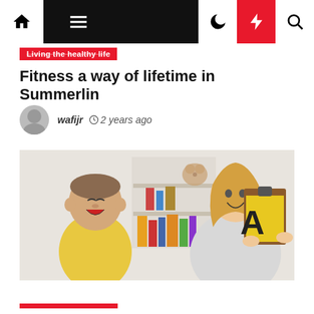Navigation bar with home, menu, dark mode, flash, and search icons
Living the healthy life
Fitness a way of lifetime in Summerlin
wafijr  2 years ago
[Figure (photo): A woman holding a clipboard with a yellow letter A card, facing a young boy in a yellow sweater who appears to be shouting or reading aloud, in a classroom or therapy setting.]